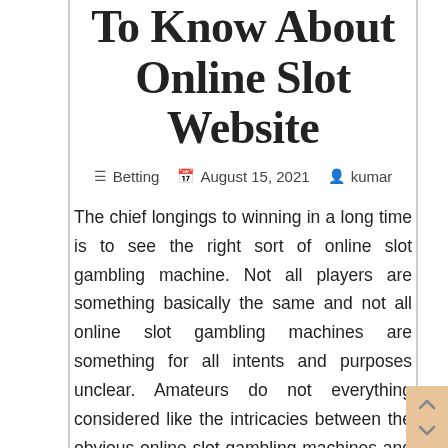To Know About Online Slot Website
Betting   August 15, 2021   kumar
The chief longings to winning in a long time is to see the right sort of online slot gambling machine. Not all players are something basically the same and not all online slot gambling machines are something for all intents and purposes unclear. Amateurs do not everything considered like the intricacies between the obvious online slot gambling machines and they in like manner do not have even the